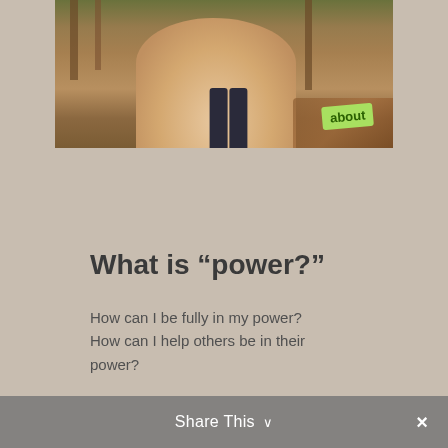[Figure (photo): Photo of a woman's neck and shoulders outdoors in a forested area, wearing a dark tank top. A green sign/tag is visible in the lower right of the photo.]
What is “power?”
How can I be fully in my power? How can I help others be in their power?
Share This  ∨  ×